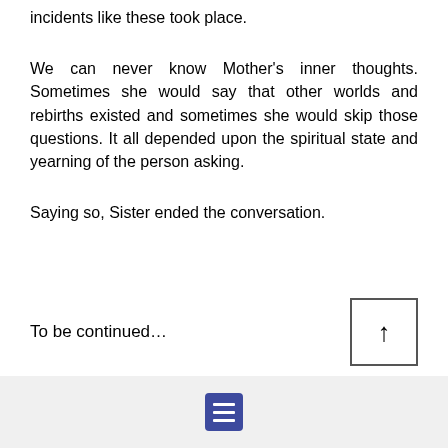incidents like these took place.
We can never know Mother's inner thoughts. Sometimes she would say that other worlds and rebirths existed and sometimes she would skip those questions. It all depended upon the spiritual state and yearning of the person asking.
Saying so, Sister ended the conversation.
To be continued…
[Figure (other): Up arrow button in a square border for scrolling to top]
Menu/table of contents icon button